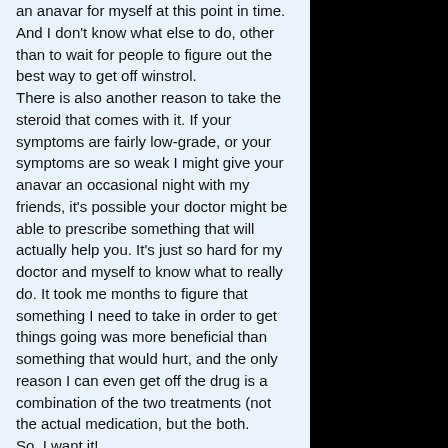an anavar for myself at this point in time. And I don't know what else to do, other than to wait for people to figure out the best way to get off winstrol.
There is also another reason to take the steroid that comes with it. If your symptoms are fairly low-grade, or your symptoms are so weak I might give your anavar an occasional night with my friends, it's possible your doctor might be able to prescribe something that will actually help you. It's just so hard for my doctor and myself to know what to really do. It took me months to figure that something I need to take in order to get things going was more beneficial than something that would hurt, and the only reason I can even get off the drug is a combination of the two treatments (not the actual medication, but the both.
So, I want it!
Similar articles: